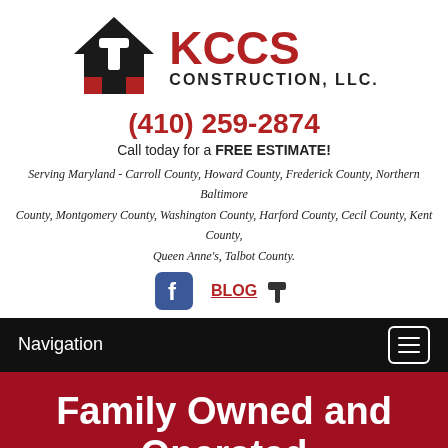[Figure (logo): KCCS Construction LLC logo — house silhouette with hammer icon, red and dark/black colors, with text KCCS in large red letters and CONSTRUCTION, LLC. below]
(410) 259-2874
Call today for a FREE ESTIMATE!
Serving Maryland - Carroll County, Howard County, Frederick County, Northern Baltimore County, Montgomery County, Washington County, Harford County, Cecil County, Kent County, Queen Anne's, Talbot County.
[Figure (logo): Facebook icon (f logo, blue) and BLOG text with hammer graphic]
Navigation
Family Owned and Operated